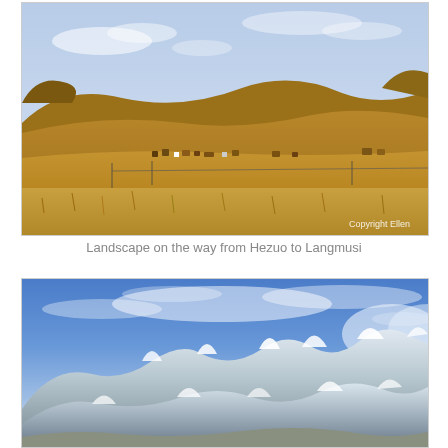[Figure (photo): Landscape photo showing rolling golden-brown hills under a blue sky with a small village/settlement visible in the middle distance on a wide grassland plain. Copyright Ellen watermark in bottom right.]
Landscape on the way from Hezuo to Langmusi
[Figure (photo): Landscape photo showing snow-capped rocky mountain peaks under a blue sky with wispy clouds. The terrain transitions from grassland to rocky, snow-dusted mountains.]